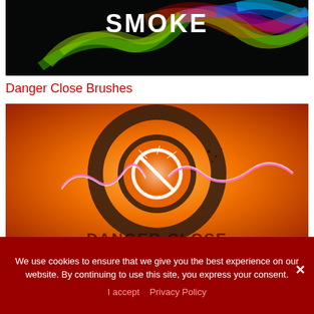[Figure (illustration): Colorful smoke image with white bold text 'SMOKE' at top on black background with rainbow-colored smoke wisps]
Danger Close Brushes
[Figure (illustration): Orange and red gradient background with a dark circular target/crosshair design, lightning bolt effects in white and pink, explosion/spark in center]
We use cookies to ensure that we give you the best experience on our website. By continuing to use this site, you express your consent.
I accept   Privacy Policy